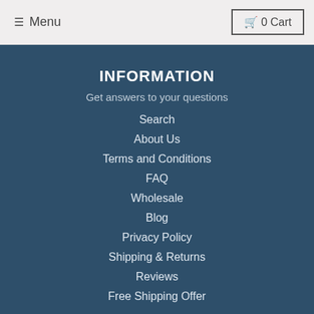☰ Menu   🛒 0 Cart
INFORMATION
Get answers to your questions
Search
About Us
Terms and Conditions
FAQ
Wholesale
Blog
Privacy Policy
Shipping & Returns
Reviews
Free Shipping Offer
EXPLORE
Browser our popular products